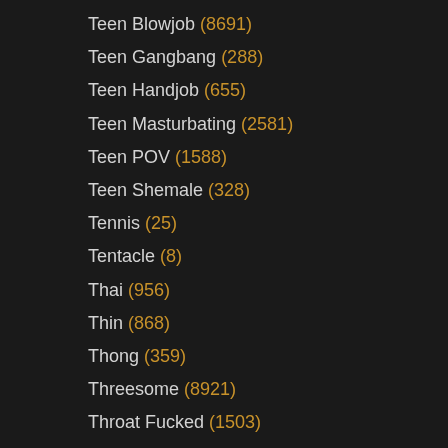Teen Blowjob (8691)
Teen Gangbang (288)
Teen Handjob (655)
Teen Masturbating (2581)
Teen POV (1588)
Teen Shemale (328)
Tennis (25)
Tentacle (8)
Thai (956)
Thin (868)
Thong (359)
Threesome (8921)
Throat Fucked (1503)
Tickling (91)
Tied (561)